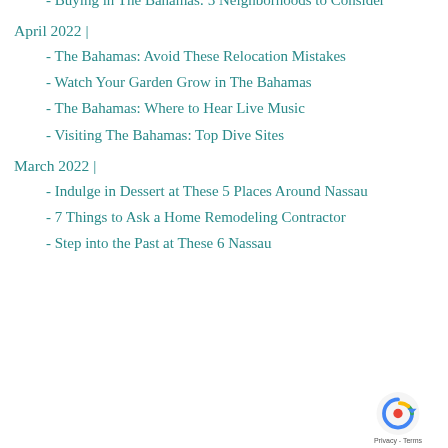- Buying in The Bahamas: 5 Neighborhoods to Consider
April 2022 |
- The Bahamas: Avoid These Relocation Mistakes
- Watch Your Garden Grow in The Bahamas
- The Bahamas: Where to Hear Live Music
- Visiting The Bahamas: Top Dive Sites
March 2022 |
- Indulge in Dessert at These 5 Places Around Nassau
- 7 Things to Ask a Home Remodeling Contractor
- Step into the Past at These 6 Nassau